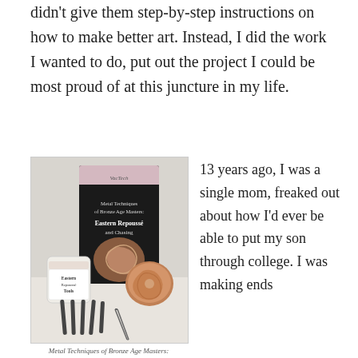didn't give them step-by-step instructions on how to make better art. Instead, I did the work I wanted to do, put out the project I could be most proud of at this juncture in my life.
[Figure (photo): Product photo showing Metal Techniques of Bronze Age Masters: Eastern Repoussé and Chasing DVD, a jar labeled Eastern Repoussé Tools, metal tools/chisels, tweezers, and a metalwork decorative plate with spiral pattern.]
Metal Techniques of Bronze Age Masters:
13 years ago, I was a single mom, freaked out about how I'd ever be able to put my son through college. I was making ends